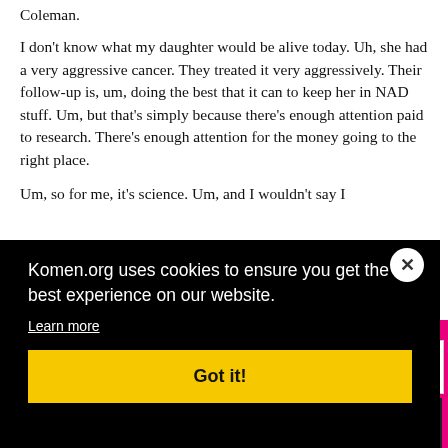Coleman.
I don't know what my daughter would be alive today. Uh, she had a very aggressive cancer. They treated it very aggressively. Their follow-up is, um, doing the best that it can to keep her in NAD stuff. Um, but that's simply because there's enough attention paid to research. There's enough attention for the money going to the right place.
Um, so for me, it's science. Um, and I wouldn't say I ... d that
Komen.org uses cookies to ensure you get the best experience on our website.
Learn more
Got it!